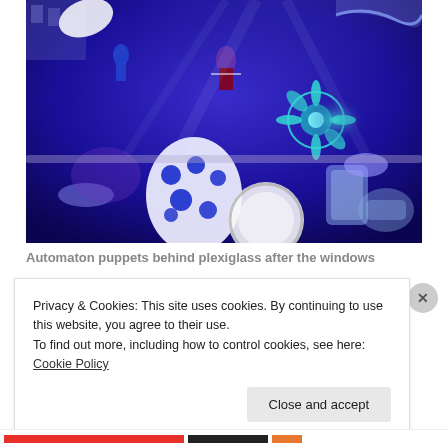[Figure (photo): A blue-lit underwater/fantasy scene in a shop window display. Features automaton puppets, decorative porcelain vases with blue floral patterns, crystal glassware, teal flower sculptures, floating figures in costume, and various decorative objects bathed in deep blue and purple light.]
Automaton puppets behind plexiglass after the windows
Privacy & Cookies: This site uses cookies. By continuing to use this website, you agree to their use.
To find out more, including how to control cookies, see here: Cookie Policy